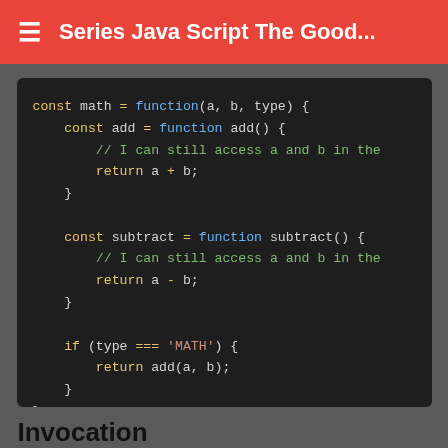Series Java Script The Good...
[Figure (screenshot): Dark-themed code editor showing a JavaScript function named math with nested add and subtract functions using closures, and a final call math(1,2,'MATH') // returns 3]
Invocation